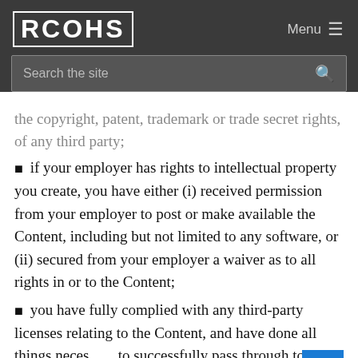RCOHS  Menu ≡
Search the site
the copyright, patent, trademark or trade secret rights, of any third party;
if your employer has rights to intellectual property you create, you have either (i) received permission from your employer to post or make available the Content, including but not limited to any software, or (ii) secured from your employer a waiver as to all rights in or to the Content;
you have fully complied with any third-party licenses relating to the Content, and have done all things necessary to successfully pass through to end users any required